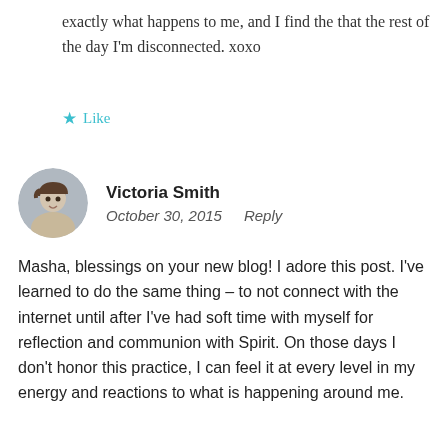exactly what happens to me, and I find the that the rest of the day I'm disconnected. xoxo
★ Like
Victoria Smith
October 30, 2015   Reply
Masha, blessings on your new blog! I adore this post. I've learned to do the same thing – to not connect with the internet until after I've had soft time with myself for reflection and communion with Spirit. On those days I don't honor this practice, I can feel it at every level in my energy and reactions to what is happening around me.